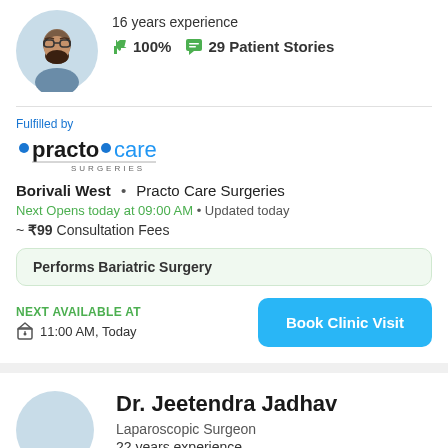[Figure (photo): Doctor profile photo, circular, man with beard wearing glasses]
16 years experience
👍 100%  💬 29 Patient Stories
Fulfilled by
[Figure (logo): Practo Care Surgeries logo]
Borivali West  •  Practo Care Surgeries
Next Opens today at 09:00 AM • Updated today
~ ₹99 Consultation Fees
Performs Bariatric Surgery
NEXT AVAILABLE AT
11:00 AM, Today
Book Clinic Visit
Dr. Jeetendra Jadhav
Laparoscopic Surgeon
22 years experience